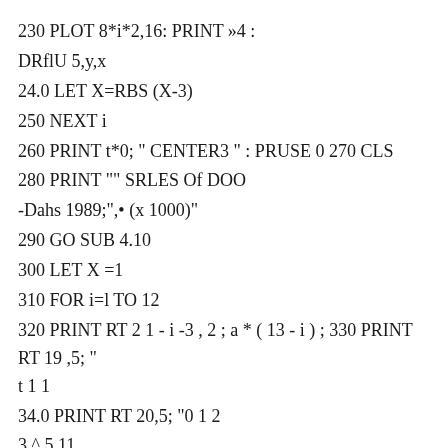230 PLOT 8*i*2,16: PRINT »4 :
DRflU 5,y,x
24.0 LET X=RBS (X-3)
250 NEXT i
260 PRINT t*0; " CENTER3 " : PRUSE 0 270 CLS
280 PRINT "" SRLES Of DOO
-Dahs 1989;",• (x 1000)"
290 GO SUB 4.10
300 LET X =1
310 FOR i=l TO 12
320 PRINT RT 2 1 - i -3 , 2 ; a * ( 13 - i ) ; 330 PRINT RT 19 ,5; " t 1 1
34.0 PRINT RT 20,5; "0 1 2
3 ^ 5 11